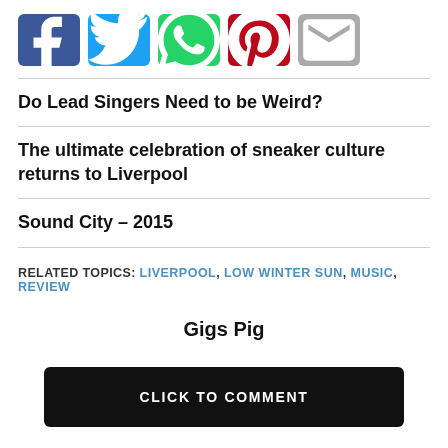[Figure (other): Social share buttons row: Facebook (blue), Twitter (light blue), WhatsApp (green), Pinterest (red), Email (gray)]
Do Lead Singers Need to be Weird?
The ultimate celebration of sneaker culture returns to Liverpool
Sound City – 2015
RELATED TOPICS: LIVERPOOL, LOW WINTER SUN, MUSIC, REVIEW
Gigs Pig
CLICK TO COMMENT
More in Music Reviews